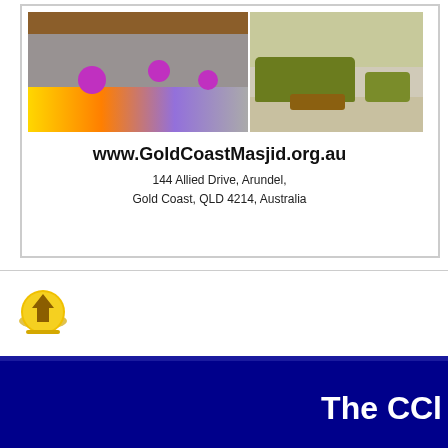[Figure (photo): Two interior photos side by side: left shows a colorful gym/activity room with purple exercise balls on colored mats; right shows a lounge area with green sofas and wooden tables]
www.GoldCoastMasjid.org.au
144 Allied Drive, Arundel,
Gold Coast, QLD 4214, Australia
[Figure (logo): Small circular yellow/gold logo icon with an upward arrow symbol]
The CCl